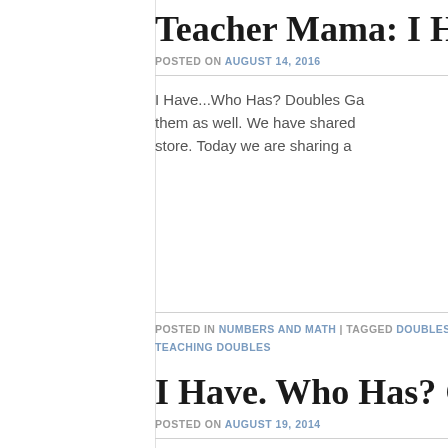Teacher Mama: I Have...Who H
POSTED ON AUGUST 14, 2016
I Have...Who Has? Doubles Ga them as well. We have shared store. Today we are sharing a
POSTED IN NUMBERS AND MATH | TAGGED DOUBLES, DOUBLES FACTS, TEACHING DOUBLES
I Have. Who Has? Games for C
POSTED ON AUGUST 19, 2014
Games for Counting Coins No